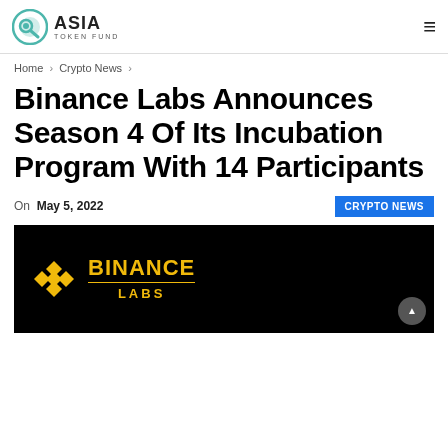ASIA TOKEN FUND — navigation header with hamburger menu
Home > Crypto News >
Binance Labs Announces Season 4 Of Its Incubation Program With 14 Participants
On May 5, 2022  CRYPTO NEWS
[Figure (photo): Binance Labs logo on black background — gold diamond Binance icon with text BINANCE LABS]